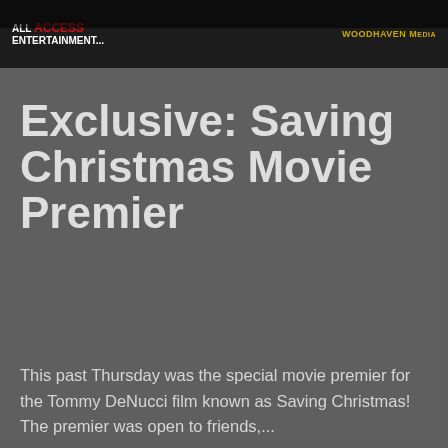ALL ACCESS ENTERTAINMENT... WOODHAVEN MEDIA
Exclusive: Saving Christmas Movie Premier
This past Thursday was the special movie premier for the Tommy DeNucci film known as Saving Christmas! The premier was open to friends,...
[Figure (screenshot): Video thumbnail showing a person holding a green item in front of a blue background with a skull-and-crossbones flag, with a Christmas tree decoration visible]
Load video